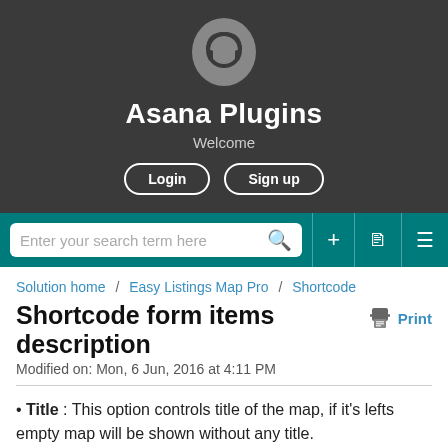[Figure (logo): Headphone/support icon in gray teardrop shape]
Asana Plugins
Welcome
Login   Sign up
Enter your search term here
Solution home / Easy Listings Map Pro / Shortcode
Shortcode form items description
Modified on: Mon, 6 Jun, 2016 at 4:11 PM
Title : This option controls title of the map, if it's lefts empty map will be shown without any title.
Listing types that shown in the map : This option controls listings type that will shown in the map, by means of this option you can choose which type of listings should be